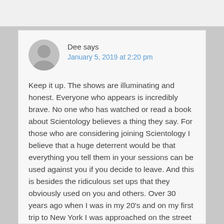Dee says
January 5, 2019 at 2:20 pm
Keep it up. The shows are illuminating and honest. Everyone who appears is incredibly brave. No one who has watched or read a book about Scientology believes a thing they say. For those who are considering joining Scientology I believe that a huge deterrent would be that everything you tell them in your sessions can be used against you if you decide to leave. And this is besides the ridiculous set ups that they obviously used on you and others. Over 30 years ago when I was in my 20’s and on my first trip to New York I was approached on the street across from the Scientology building and the discreetio…